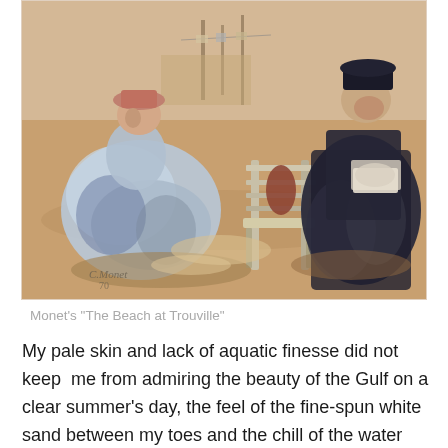[Figure (illustration): Impressionist painting by Monet titled 'The Beach at Trouville' showing two women seated on a beach, one in a light blue dress and one in dark clothing, with a wooden chair between them and a sandy beach background.]
Monet's "The Beach at Trouville"
My pale skin and lack of aquatic finesse did not keep  me from admiring the beauty of the Gulf on a clear summer's day, the feel of the fine-spun white sand between my toes and the chill of the water washing over my feet; the chance to build sandcastles and search for pretty shells to bring back as souvenirs. To wander in up to my waist and splash about.  Every child needs to spend some time at